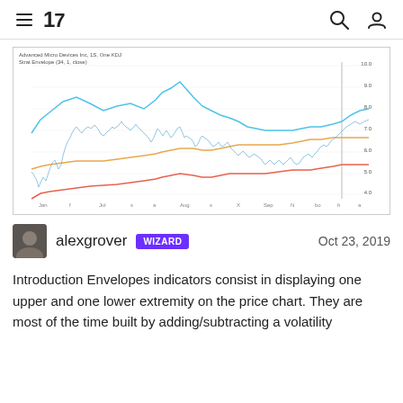TradingView header with menu, logo, search and account icons
[Figure (continuous-plot): Stock price chart for Advanced Micro Devices Inc. showing price line (blue/gray) with envelope indicator bands (upper blue band, middle orange band, lower red band) over a time period from approximately Jan to Dec 2019. Y-axis shows price levels. X-axis shows months.]
alexgrover WIZARD  Oct 23, 2019
Introduction Envelopes indicators consist in displaying one upper and one lower extremity on the price chart. They are most of the time built by adding/subtracting a volatility